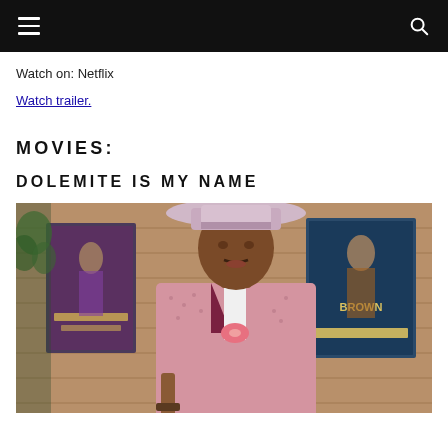Watch on: Netflix
Watch trailer.
MOVIES:
DOLEMITE IS MY NAME
[Figure (photo): A man in a pink patterned suit and light pink wide-brim hat, looking off to the side. In the background are movie posters on a wood-paneled wall and a potted plant.]